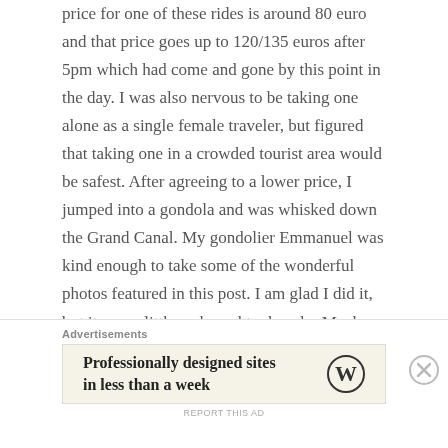price for one of these rides is around 80 euro and that price goes up to 120/135 euros after 5pm which had come and gone by this point in the day. I was also nervous to be taking one alone as a single female traveler, but figured that taking one in a crowded tourist area would be safest. After agreeing to a lower price, I jumped into a gondola and was whisked down the Grand Canal. My gondolier Emmanuel was kind enough to take some of the wonderful photos featured in this post. I am glad I did it, but it was a little awkward to do solo. Maybe next time I'll have my partner along for the ride! After that ride, I practically sprinted through the city to try and make it to the restaurant I had chosen for dinner before it closed. In Paris and France in general, restaurants will often stop
Advertisements
[Figure (other): WordPress advertisement banner: 'Professionally designed sites in less than a week' with WordPress logo]